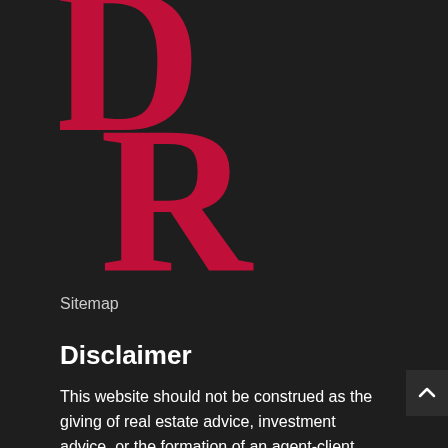[Figure (logo): DR monogram logo in crimson/dark red serif font on dark background]
Sitemap
Disclaimer
This website should not be construed as the giving of real estate advice, investment advice, or the formation of an agent-client relationship. All information on this site should be considered as being